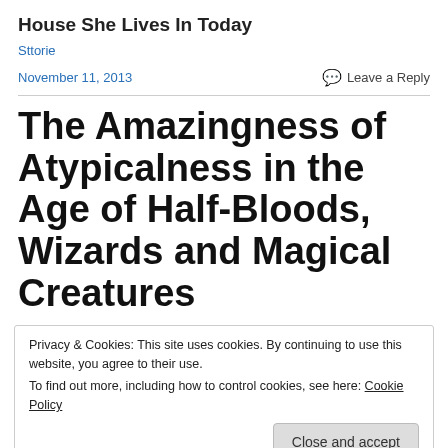House She Lives In Today
Sttorie
November 11, 2013    Leave a Reply
The Amazingness of Atypicalness in the Age of Half-Bloods, Wizards and Magical Creatures
Privacy & Cookies: This site uses cookies. By continuing to use this website, you agree to their use.
To find out more, including how to control cookies, see here: Cookie Policy
Close and accept